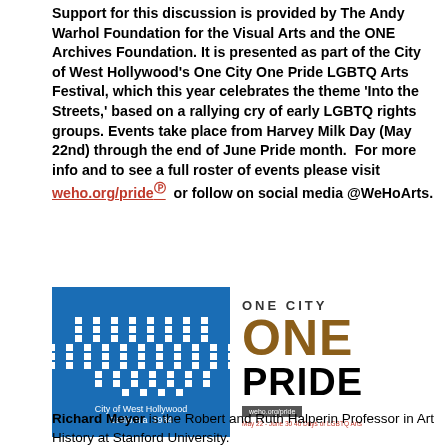Support for this discussion is provided by The Andy Warhol Foundation for the Visual Arts and the ONE Archives Foundation. It is presented as part of the City of West Hollywood's One City One Pride LGBTQ Arts Festival, which this year celebrates the theme 'Into the Streets,' based on a rallying cry of early LGBTQ rights groups. Events take place from Harvey Milk Day (May 22nd) through the end of June Pride month.  For more info and to see a full roster of events please visit weho.org/pride or follow on social media @WeHoArts.
[Figure (logo): City of West Hollywood California 1984 blue logo with pixel/dot grid pattern]
[Figure (logo): One City One Pride weho.org/pride May 22 - June 30 40 Days of LGBTQ Arts logo]
Bios
Richard Meyer is the Robert and Ruth Halperin Professor in Art History at Stanford University.